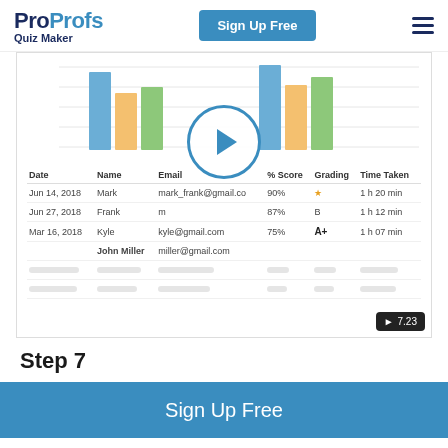ProProfs Quiz Maker | Sign Up Free
[Figure (screenshot): Screenshot of ProProfs Quiz Maker dashboard showing a grouped bar chart (blue, orange, green bars) with a video play button overlay, and a results table with columns: Date, Name, Email, % Score, Grading, Time Taken. Rows include: Jun 14, 2018 / Mark / mark_frank@gmail.co / 90% / star rating / 1 h 20 min; Jun 27, 2018 / Frank / m / 87% / B / 1 h 12 min; Mar 16, 2018 / Kyle / kyle@gmail.com / 75% / A+ / 1 h 07 min; John Miller / miller@gmail.com (blurred rows follow). A video timestamp badge shows 7.23.]
Step 7
Sign Up Free